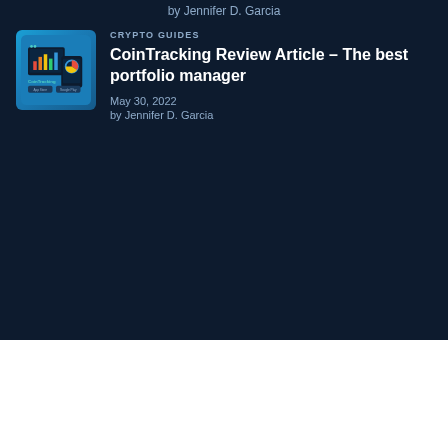by Jennifer D. Garcia
CRYPTO GUIDES
CoinTracking Review Article – The best portfolio manager
May 30, 2022
by Jennifer D. Garcia
[Figure (screenshot): CoinTracking app screenshot showing charts and dashboard on tablet and phone]
Our Aviation Career School Helps You Get Started in...
Open